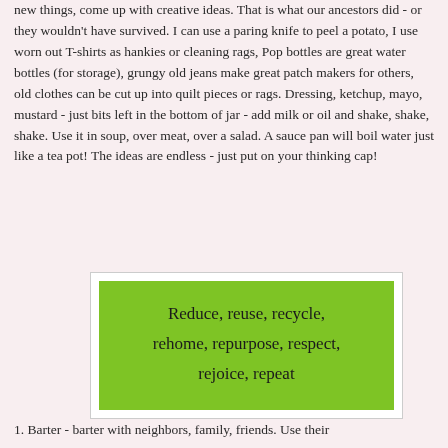new things, come up with creative ideas.  That is what our ancestors did - or they wouldn't have survived.  I can use a paring knife to peel a potato, I use worn out T-shirts as hankies or cleaning rags,  Pop bottles are great water  bottles (for storage), grungy old jeans make great patch makers for others, old clothes can be cut up into quilt pieces or rags.  Dressing, ketchup, mayo, mustard - just bits left in the bottom of jar - add milk or oil and shake, shake, shake.  Use it in soup, over meat, over a salad.  A sauce pan will boil water just like a tea pot!  The ideas are endless - just put on your thinking cap!
[Figure (other): Green box with white border containing the text: Reduce, reuse, recycle, rehome, repurpose, respect, rejoice, repeat]
1. Barter - barter with neighbors, family, friends.  Use their